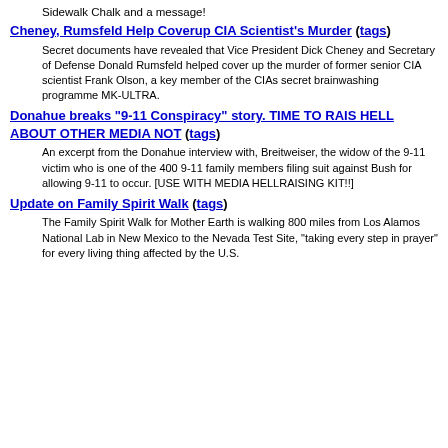Sidewalk Chalk and a message!
Cheney, Rumsfeld Help Coverup CIA Scientist's Murder (tags)
Secret documents have revealed that Vice President Dick Cheney and Secretary of Defense Donald Rumsfeld helped cover up the murder of former senior CIA scientist Frank Olson, a key member of the CIAs secret brainwashing programme MK-ULTRA.
Donahue breaks "9-11 Conspiracy" story. TIME TO RAIS HELL ABOUT OTHER MEDIA NOT (tags)
An excerpt from the Donahue interview with, Breitweiser, the widow of the 9-11 victim who is one of the 400 9-11 family members filing suit against Bush for allowing 9-11 to occur. [USE WITH MEDIA HELLRAISING KIT!!]
Update on Family Spirit Walk (tags)
The Family Spirit Walk for Mother Earth is walking 800 miles from Los Alamos National Lab in New Mexico to the Nevada Test Site, "taking every step in prayer" for every living thing affected by the U.S.